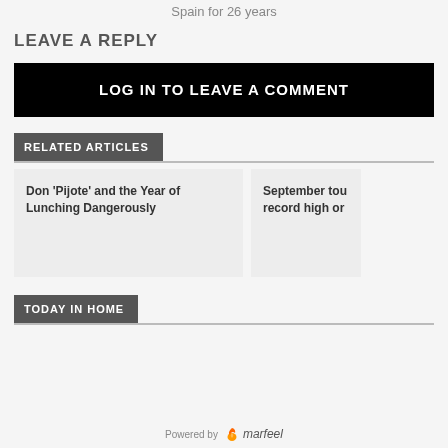Spain for 26 years
LEAVE A REPLY
LOG IN TO LEAVE A COMMENT
RELATED ARTICLES
Don ‘Pijote’ and the Year of Lunching Dangerously
September tou record high or
TODAY IN HOME
Powered by marfeel